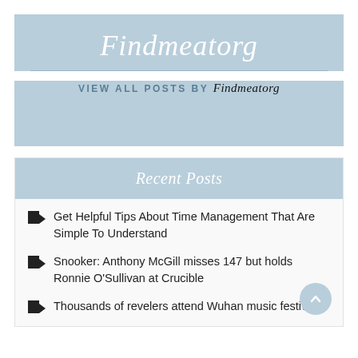Findmeatorg
VIEW ALL POSTS BY Findmeatorg
Recent Posts
Get Helpful Tips About Time Management That Are Simple To Understand
Snooker: Anthony McGill misses 147 but holds Ronnie O'Sullivan at Crucible
Thousands of revelers attend Wuhan music festival